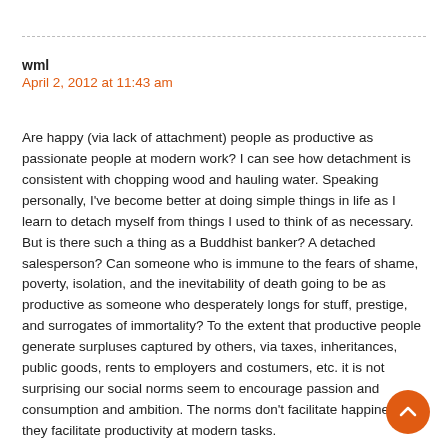wml
April 2, 2012 at 11:43 am
Are happy (via lack of attachment) people as productive as passionate people at modern work? I can see how detachment is consistent with chopping wood and hauling water. Speaking personally, I've become better at doing simple things in life as I learn to detach myself from things I used to think of as necessary. But is there such a thing as a Buddhist banker? A detached salesperson? Can someone who is immune to the fears of shame, poverty, isolation, and the inevitability of death going to be as productive as someone who desperately longs for stuff, prestige, and surrogates of immortality? To the extent that productive people generate surpluses captured by others, via taxes, inheritances, public goods, rents to employers and costumers, etc. it is not surprising our social norms seem to encourage passion and consumption and ambition. The norms don't facilitate happiness; they facilitate productivity at modern tasks.

Of course, perhaps as natural resources dwindle, what we may need more is easily satisfied, low-consumption citizens.